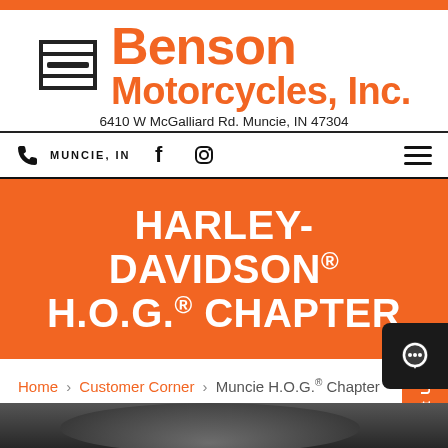[Figure (logo): Benson Motorcycles Inc. Harley-Davidson dealer logo and header with orange branding]
MUNCIE, IN
HARLEY-DAVIDSON® H.O.G.® CHAPTER
Home › Customer Corner › Muncie H.O.G.® Chapter